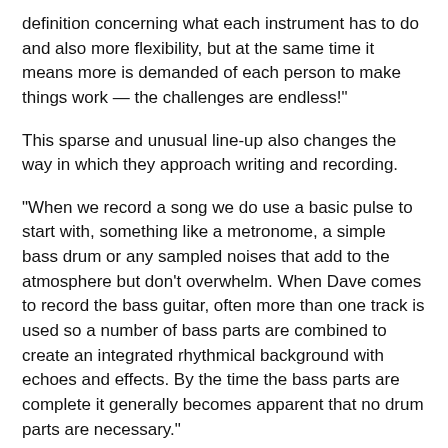definition concerning what each instrument has to do and also more flexibility, but at the same time it means more is demanded of each person to make things work — the challenges are endless!"
This sparse and unusual line-up also changes the way in which they approach writing and recording.
"When we record a song we do use a basic pulse to start with, something like a metronome, a simple bass drum or any sampled noises that add to the atmosphere but don't overwhelm. When Dave comes to record the bass guitar, often more than one track is used so a number of bass parts are combined to create an integrated rhythmical background with echoes and effects. By the time the bass parts are complete it generally becomes apparent that no drum parts are necessary."
Suddenly, Dave is triggered into confessional mode by my black polo-neck and starts blabbering uncontrollably: "I'm a self-confessed compressor addict — no, I admit it — it's gotta be full